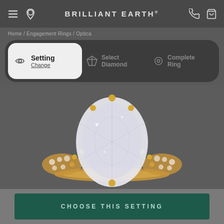BRILLIANT EARTH
Home / Engagement Rings / Optica
Setting Change | Select Diamond | Complete Ring
[Figure (photo): Optica diamond engagement ring with large oval center stone set in yellow gold with cluster diamond side accents and pavé band]
CHOOSE THIS SETTING